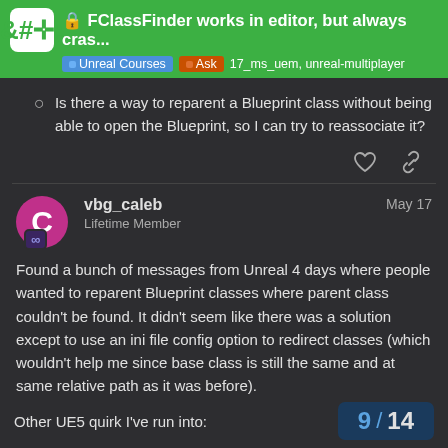FClassFinder works in editor, but always cras... | Unreal Courses | Ask | 17_ms_uem, unreal-multiplayer
Is there a way to reparent a Blueprint class without being able to open the Blueprint, so I can try to reassociate it?
vbg_caleb  Lifetime Member  May 17
Found a bunch of messages from Unreal 4 days where people wanted to reparent Blueprint classes where parent class couldn't be found. It didn't seem like there was a solution except to use an ini file config option to redirect classes (which wouldn't help me since base class is still the same and at same relative path as it was before).
I'm just going to rebuild my Blueprint menus from scratch.
Other UE5 quirk I've run into:
9 / 14